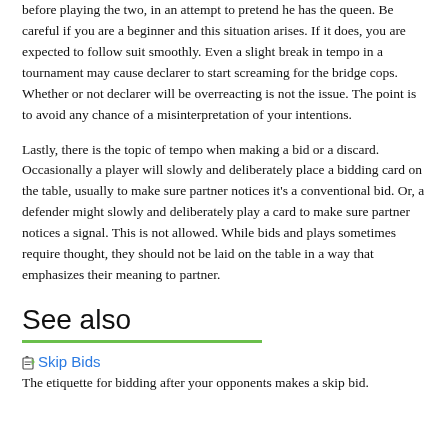before playing the two, in an attempt to pretend he has the queen. Be careful if you are a beginner and this situation arises. If it does, you are expected to follow suit smoothly. Even a slight break in tempo in a tournament may cause declarer to start screaming for the bridge cops. Whether or not declarer will be overreacting is not the issue. The point is to avoid any chance of a misinterpretation of your intentions.
Lastly, there is the topic of tempo when making a bid or a discard. Occasionally a player will slowly and deliberately place a bidding card on the table, usually to make sure partner notices it's a conventional bid. Or, a defender might slowly and deliberately play a card to make sure partner notices a signal. This is not allowed. While bids and plays sometimes require thought, they should not be laid on the table in a way that emphasizes their meaning to partner.
See also
Skip Bids
The etiquette for bidding after your opponents makes a skip bid.